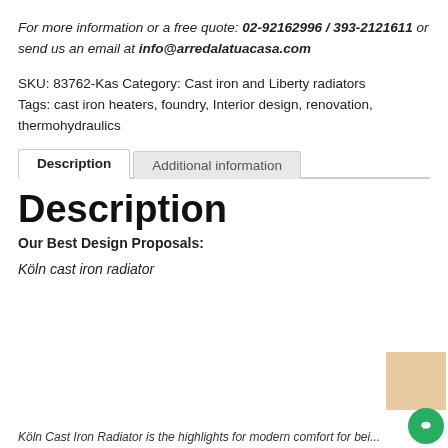For more information or a free quote: 02-92162996 / 393-2121611 or send us an email at info@arredalatuacasa.com
SKU: 83762-Kas Category: Cast iron and Liberty radiators Tags: cast iron heaters, foundry, Interior design, renovation, thermohydraulics
Description | Additional information (tabs)
Description
Our Best Design Proposals:
Köln cast iron radiator
Köln Cast Iron Radiator is the highlights for modern comfort and design...